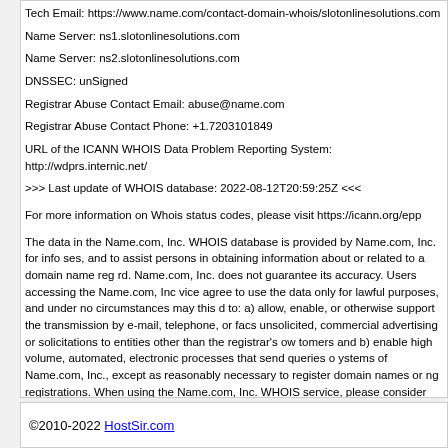Tech Email: https://www.name.com/contact-domain-whois/slotonlinesolutions.com
Name Server: ns1.slotonlinesolutions.com
Name Server: ns2.slotonlinesolutions.com
DNSSEC: unSigned
Registrar Abuse Contact Email: abuse@name.com
Registrar Abuse Contact Phone: +1.7203101849
URL of the ICANN WHOIS Data Problem Reporting System: http://wdprs.internic.net/
>>> Last update of WHOIS database: 2022-08-12T20:59:25Z <<<
For more information on Whois status codes, please visit https://icann.org/epp
The data in the Name.com, Inc. WHOIS database is provided by Name.com, Inc. for information purposes, and to assist persons in obtaining information about or related to a domain name record. Name.com, Inc. does not guarantee its accuracy. Users accessing the Name.com, Inc. service agree to use the data only for lawful purposes, and under no circumstances may this data be used to: a) allow, enable, or otherwise support the transmission by e-mail, telephone, or facsimile of unsolicited, commercial advertising or solicitations to entities other than the registrar's own customers and b) enable high volume, automated, electronic processes that send queries or data to the systems of Name.com, Inc., except as reasonably necessary to register domain names or modify existing registrations. When using the Name.com, Inc. WHOIS service, please consider the following: The WHOIS service is not a replacement for standard EPP commands to the SRS service. WHOIS data is considered authoritative for registered domain objects. The WHOIS service may be scheduled for downtime during production or OT&E maintenance periods. Where applicable, the presence of a [redacted data] tag indicates that such data is not made publicly available due to applicable data privacy requirements. Access to non-public data may be provided, upon request, where it can be confirmed that the requester holds a specific legitimate interest and a proper legal basis, for accessing the withheld data. Access to this data can be requested by submitting a request via the form at https://www.name.com/layered-access-request . Name.com, Inc. reserves the right to modify these terms at any time. By submitting this query, you agree to abide by this policy.
©2010-2022 HostSir.com